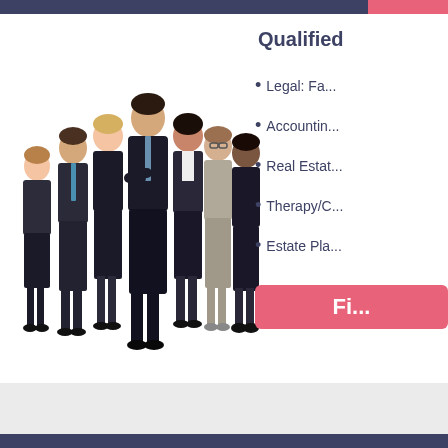[Figure (photo): Group of seven business professionals in formal attire standing together against a white background]
Qualified
Legal: Fa...
Accountin...
Real Estat...
Therapy/C...
Estate Pla...
Fi...